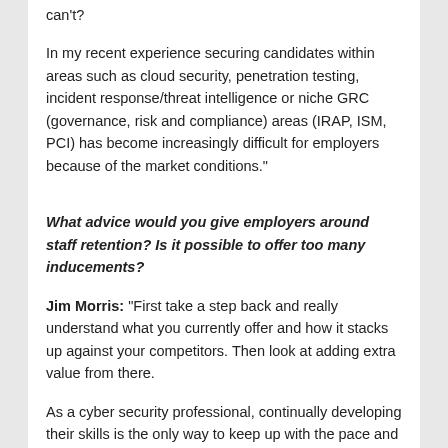can't?
In my recent experience securing candidates within areas such as cloud security, penetration testing, incident response/threat intelligence or niche GRC (governance, risk and compliance) areas (IRAP, ISM, PCI) has become increasingly difficult for employers because of the market conditions."
What advice would you give employers around staff retention? Is it possible to offer too many inducements?
Jim Morris: “First take a step back and really understand what you currently offer and how it stacks up against your competitors. Then look at adding extra value from there.
As a cyber security professional, continually developing their skills is the only way to keep up with the pace and demand of the market. What new skills are you offering your staff? What kind of forums can you offer them to